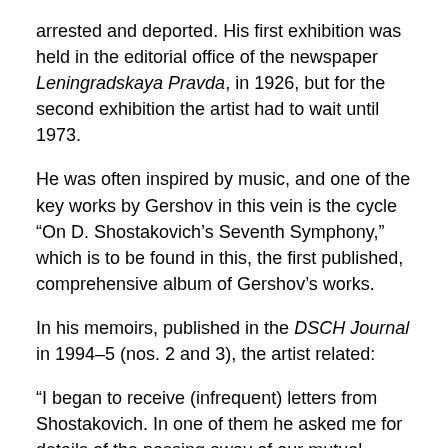arrested and deported. His first exhibition was held in the editorial office of the newspaper Leningradskaya Pravda, in 1926, but for the second exhibition the artist had to wait until 1973.
He was often inspired by music, and one of the key works by Gershov in this vein is the cycle “On D. Shostakovich’s Seventh Symphony,” which is to be found in this, the first published, comprehensive album of Gershov’s works.
In his memoirs, published in the DSCH Journal in 1994–5 (nos. 2 and 3), the artist related:
“I began to receive (infrequent) letters from Shostakovich. In one of them he asked me for details of the passing away of our mutual friend Boris Mikhailovich Erbstein.1 I replied with all I knew, adding that I was about to complete a series of works, of about